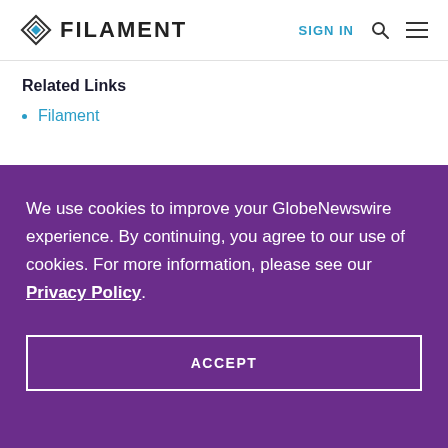FILAMENT | SIGN IN
Related Links
Filament
We use cookies to improve your GlobeNewswire experience. By continuing, you agree to our use of cookies. For more information, please see our Privacy Policy.
ACCEPT